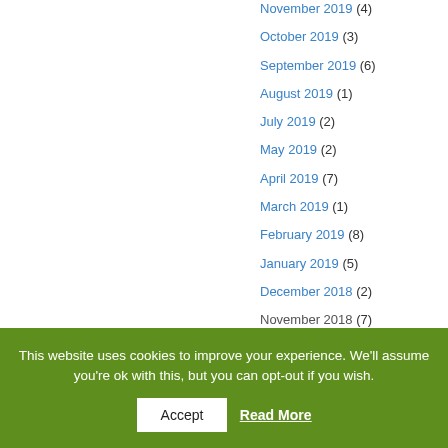November 2019 (4)
October 2019 (3)
September 2019 (6)
August 2019 (1)
July 2019 (2)
May 2019 (2)
April 2019 (7)
March 2019 (1)
February 2019 (8)
January 2019 (5)
December 2018 (2)
November 2018 (7)
This website uses cookies to improve your experience. We'll assume you're ok with this, but you can opt-out if you wish. Accept Read More